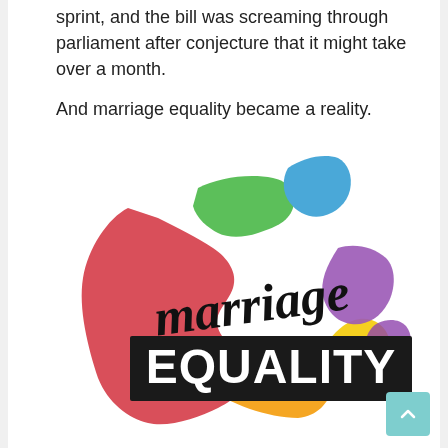sprint, and the bill was screaming through parliament after conjecture that it might take over a month.

And marriage equality became a reality.
[Figure (illustration): A colourful illustration of the map of Australia filled with rainbow pride colours (red, green, blue, purple, orange, yellow), overlaid with the script word 'marriage' and a bold black banner reading 'EQUALITY' in large white capital letters. This is the Australian Marriage Equality campaign logo.]